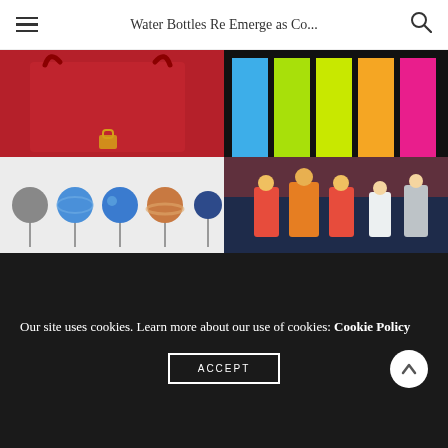Water Bottles Re Emerge as Co...
[Figure (photo): Red leather handbag with gold padlock clasp]
[Figure (photo): Colorful vertical stripes in blue, green, yellow-green, orange, and pink on black background]
Things We Love – 2018 Holiday Edition
Incredible Novelties Inc.
[Figure (photo): Planet-shaped lollipops or chocolates on white background]
[Figure (photo): Racing event with mascot and racers on podium]
Our site uses cookies. Learn more about our use of cookies: Cookie Policy
ACCEPT